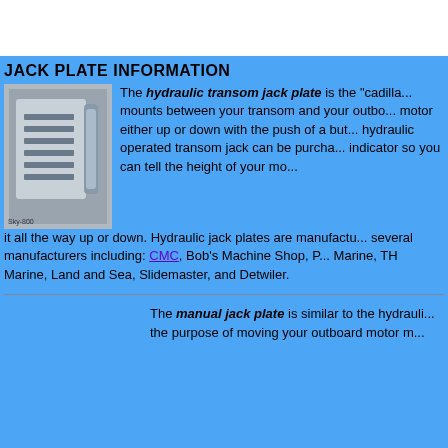JACK PLATE INFORMATION
[Figure (photo): Photo of a hydraulic transom jack plate, metallic silver device with vents]
The hydraulic transom jack plate is the "cadilla... mounts between your transom and your outbo... motor either up or down with the push of a but... hydraulic operated transom jack can be purcha... indicator so you can tell the height of your mo... it all the way up or down. Hydraulic jack plates are manufactu... several manufacturers including: CMC, Bob's Machine Shop, P... Marine, TH Marine, Land and Sea, Slidemaster, and Detwiler.
The manual jack plate is similar to the hydrauli... the purpose of moving your outboard motor m...